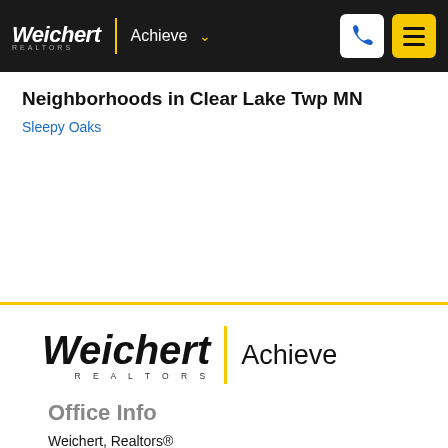Weichert | REALTORS Achieve
Neighborhoods in Clear Lake Twp MN
Sleepy Oaks
[Figure (logo): Weichert Realtors Achieve logo — large italic Weichert wordmark with REALTORS subtitle, yellow vertical bar, and Achieve text]
Office Info
Weichert, Realtors®
Achieve
10154 Main Ave SE